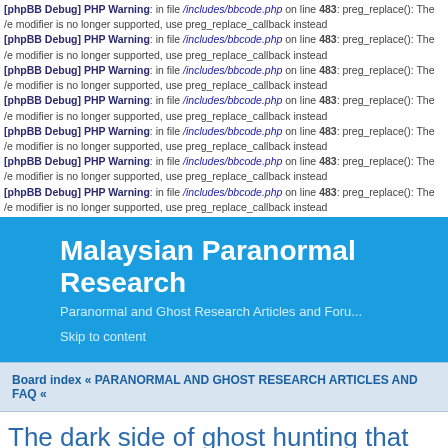[phpBB Debug] PHP Warning: in file /includes/bbcode.php on line 483: preg_replace(): The /e modifier is no longer supported, use preg_replace_callback instead (repeated multiple times)
[Figure (screenshot): Blue header banner for 'Malaysian Paranormal Research' website with subtitle 'Paranormal and Ghost Research Articles and Forum']
Skip to content
Board index « PARANORMAL AND GHOST RESEARCH ARTICLES AND FAQ «
The dark side of ghost hunting that we do not aw
Topic locked
Search this topic... Search
The dark side of ghost hunting that we do not aware
by admin » Sun Apr 19, 2009 4:34 am